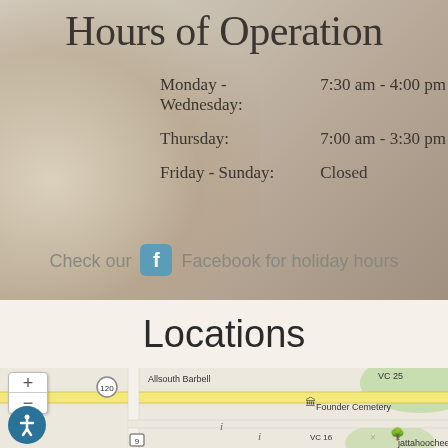Hours of Operation
| Day | Hours |
| --- | --- |
| Monday - Wednesday: | 7:30 am - 4:00 pm |
| Thursday: | 7:00 am - 3:30 pm |
| Friday - Sunday: | Closed |
Check our Facebook for holiday hours
Locations
[Figure (map): Interactive street map showing local area with roads, Allsouth Barbell label, Founder Cemetery, VC 25, VC 16, route 120 and 9 markers, zoom controls, and accessibility button]